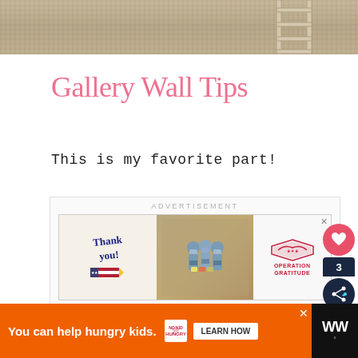[Figure (photo): Top portion of a photo showing beige/tan carpet with what appears to be a white ladder or frame visible on the right side]
Gallery Wall Tips
This is my favorite part!
[Figure (screenshot): Advertisement banner labeled ADVERTISEMENT showing a Thank you Operation Gratitude military appreciation ad with nurses holding cards]
[Figure (screenshot): Bottom advertisement bar: You can help hungry kids. No Kid Hungry LEARN HOW]
[Figure (infographic): Heart/like button (pink circle) and share button (dark navy circle with count 3) on the right side]